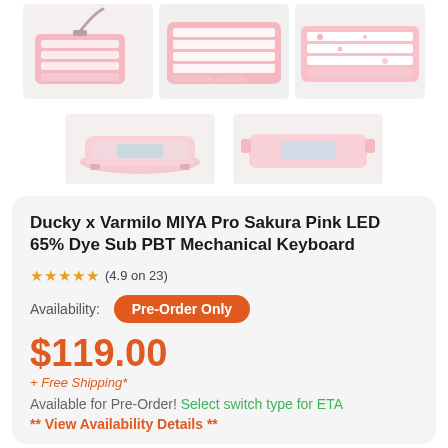[Figure (photo): Three thumbnail photos of Ducky x Varmilo MIYA Pro Sakura Pink keyboard from different angles (top row)]
[Figure (photo): Two thumbnail photos of keyboard base/bottom from different angles (bottom row)]
Ducky x Varmilo MIYA Pro Sakura Pink LED 65% Dye Sub PBT Mechanical Keyboard
★★★★★ (4.9 on 23)
Availability: Pre-Order Only
$119.00
+ Free Shipping*
Available for Pre-Order! Select switch type for ETA
** View Availability Details **